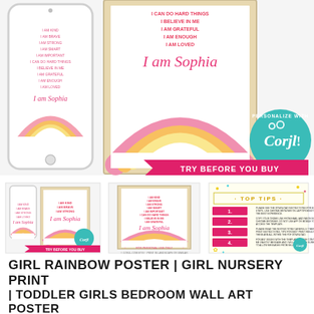[Figure (photo): Product mockup showing a phone and framed print of a girl rainbow affirmations poster with 'I am Sophia' personalization, rainbow watercolor illustration, Corjl personalization badge, and 'Try Before You Buy' pink banner]
[Figure (photo): Three product thumbnail images: first thumbnail showing previous listing image, second showing framed print of girl rainbow poster, third showing 'Top Tips' instruction card with numbered pink banner tips and Corjl badge]
GIRL RAINBOW POSTER | GIRL NURSERY PRINT | TODDLER GIRLS BEDROOM WALL ART POSTER